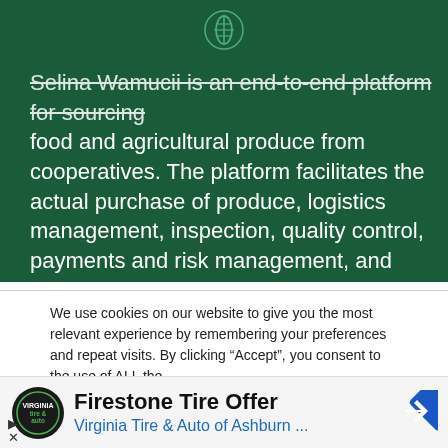[Figure (logo): Green wheat/leaf circular icon on dark green background]
Selina Wamucii is an end-to-end platform for sourcing food and agricultural produce from cooperatives. The platform facilitates the actual purchase of produce, logistics management, inspection, quality control, payments and risk management, and delivery to the destination port.
We use cookies on our website to give you the most relevant experience by remembering your preferences and repeat visits. By clicking “Accept”, you consent to the use of ALL the cookies.
Firestone Tire Offer
Virginia Tire & Auto of Ashburn ...